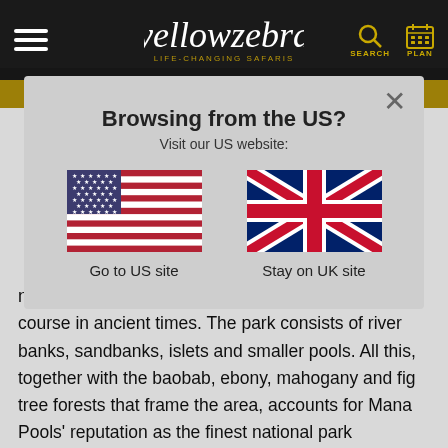yellowzebra LIFE-CHANGING SAFARIS — SEARCH — PLAN
[Figure (screenshot): Modal dialog overlay on yellowzebra.com website. Shows 'Browsing from the US? Visit our US website:' with US flag (Go to US site) and UK flag (Stay on UK site) options. Background shows partially obscured article text about Mana Pools national park.]
number of pools created by the river's changing course in ancient times. The park consists of river banks, sandbanks, islets and smaller pools. All this, together with the baobab, ebony, mahogany and fig tree forests that frame the area, accounts for Mana Pools' reputation as the finest national park